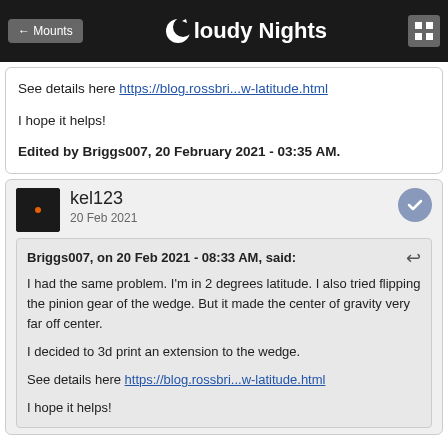← Mounts | Cloudy Nights
See details here https://blog.rossbri...w-latitude.html

I hope it helps!

Edited by Briggs007, 20 February 2021 - 03:35 AM.
kel123
20 Feb 2021
Briggs007, on 20 Feb 2021 - 08:33 AM, said:
I had the same problem. I'm in 2 degrees latitude. I also tried flipping the pinion gear of the wedge. But it made the center of gravity very far off center.

I decided to 3d print an extension to the wedge.

See details here https://blog.rossbri...w-latitude.html

I hope it helps!